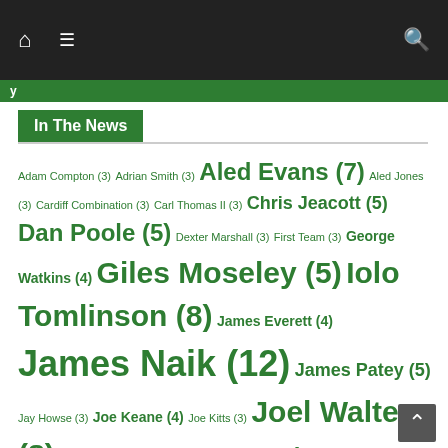Navigation bar with home, menu, and search icons
In The News
Adam Compton (3) Adrian Smith (3) Aled Evans (7) Aled Jones (3) Cardiff Combination (3) Carl Thomas II (3) Chris Jeacott (5) Dan Poole (5) Dexter Marshall (3) First Team (3) George Watkins (4) Giles Moseley (5) Iolo Tomlinson (8) James Everett (4) James Naik (12) James Patey (5) Jay Howse (3) Joe Keane (4) Joe Kitts (3) Joel Walters (8) Joe Richards (3) Josh Peacock (4) Keirnan Pedder (6) Kieran Patel (4) Mark Lewis (3) Matt Davies (4) Matthew Rowley (3) Matty Thomas (6) Michael Temple (9) Milsom Harries Cup (3) Nathaniel